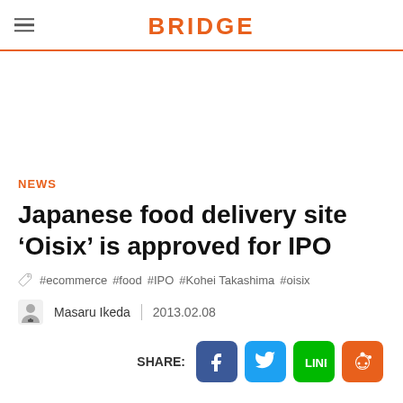BRIDGE
NEWS
Japanese food delivery site ‘Oisix’ is approved for IPO
#ecommerce #food #IPO #Kohei Takashima #oisix
Masaru Ikeda | 2013.02.08